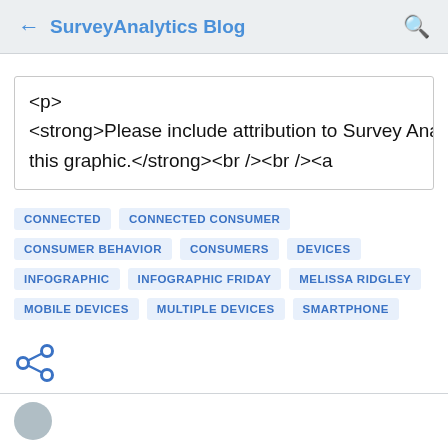SurveyAnalytics Blog
<p>
<strong>Please include attribution to Survey Analytics with this graphic.</strong><br /><br /><a
CONNECTED
CONNECTED CONSUMER
CONSUMER BEHAVIOR
CONSUMERS
DEVICES
INFOGRAPHIC
INFOGRAPHIC FRIDAY
MELISSA RIDGLEY
MOBILE DEVICES
MULTIPLE DEVICES
SMARTPHONE
[Figure (other): Share icon (less-than style share symbol in blue)]
[Figure (other): Partial author avatar circle at bottom of page]